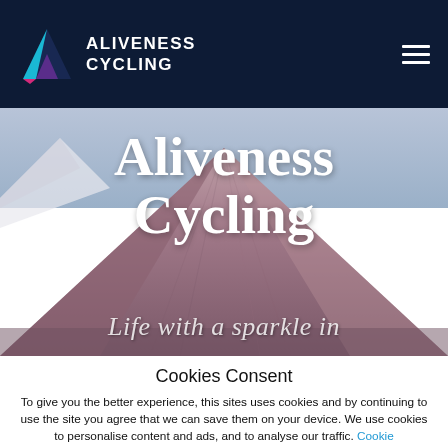ALIVENESS CYCLING
[Figure (photo): Mountain landscape hero image with purple-brown volcanic mountain slopes and blue sky, overlaid with large white serif text 'Aliveness Cycling' and italic subtitle 'Life with a sparkle in']
Cookies Consent
To give you the better experience, this sites uses cookies and by continuing to use the site you agree that we can save them on your device. We use cookies to personalise content and ads, and to analyse our traffic. Cookie settings
ACCEPT